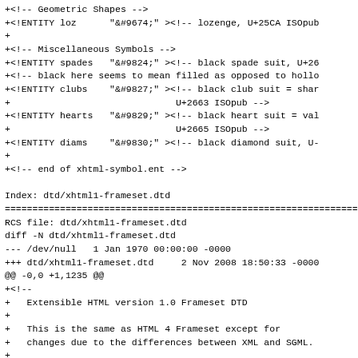+<!-- Geometric Shapes -->
+<!ENTITY loz      "&#9674;" ><!-- lozenge, U+25CA ISOpub
+
+<!-- Miscellaneous Symbols -->
+<!ENTITY spades   "&#9824;" ><!-- black spade suit, U+26
+<!-- black here seems to mean filled as opposed to hollo
+<!ENTITY clubs    "&#9827;" ><!-- black club suit = shar
+                              U+2663 ISOpub -->
+<!ENTITY hearts   "&#9829;" ><!-- black heart suit = val
+                              U+2665 ISOpub -->
+<!ENTITY diams    "&#9830;" ><!-- black diamond suit, U-
+
+<!-- end of xhtml-symbol.ent -->

Index: dtd/xhtml1-frameset.dtd
================================================================
RCS file: dtd/xhtml1-frameset.dtd
diff -N dtd/xhtml1-frameset.dtd
--- /dev/null   1 Jan 1970 00:00:00 -0000
+++ dtd/xhtml1-frameset.dtd     2 Nov 2008 18:50:33 -0000
@@ -0,0 +1,1235 @@
+<!--
+   Extensible HTML version 1.0 Frameset DTD
+
+   This is the same as HTML 4 Frameset except for
+   changes due to the differences between XML and SGML.
+
+   Namespace = http://www.w3.org/1999/xhtml
+
+   For further information, see: http://www.w3.org/TR/xh